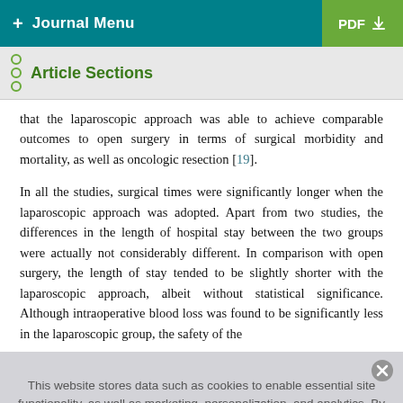+ Journal Menu   PDF ↓
Article Sections
that the laparoscopic approach was able to achieve comparable outcomes to open surgery in terms of surgical morbidity and mortality, as well as oncologic resection [19].
In all the studies, surgical times were significantly longer when the laparoscopic approach was adopted. Apart from two studies, the differences in the length of hospital stay between the two groups were actually not considerably different. In comparison with open surgery, the length of stay tended to be slightly shorter with the laparoscopic approach, albeit without statistical significance. Although intraoperative blood loss was found to be significantly less in the laparoscopic group, the safety of the
This website stores data such as cookies to enable essential site functionality, as well as marketing, personalization, and analytics. By remaining on this website you indicate your consent. Cookie Policy